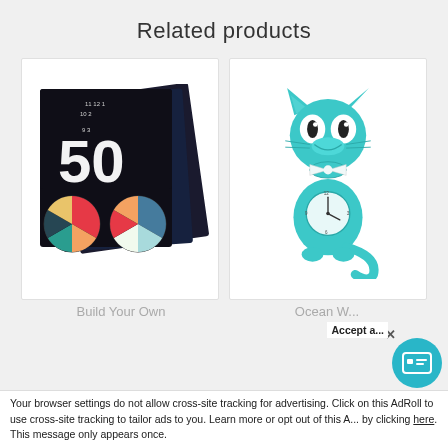Related products
[Figure (photo): Stack of color wheel clock puzzle cards showing '50' in white text overlay on dark background with rainbow color wheel designs]
[Figure (photo): Teal/turquoise Kit-Cat clock shaped like a cartoon cat with clock face on its belly, white bow tie, and long tail hanging down]
Build Your Own
Ocean W...
Your browser settings do not allow cross-site tracking for advertising. Click on this AdRoll to use cross-site tracking to tailor ads to you. Learn more or opt out of this A... by clicking here. This message only appears once.
Accept a...